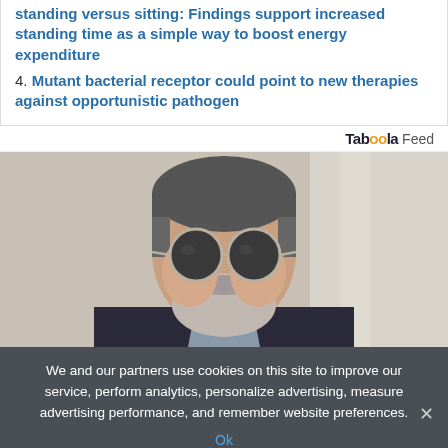standing versus sitting: Findings support increased standing time as a simple way to boost energy expenditure
4. Mutant bacterial receptor could point to new therapies against opportunistic pathogen
Taboola Feed
[Figure (photo): Close-up portrait of a middle-aged man with short salt-and-pepper hair, a grey-white beard, and round dark sunglasses, wearing a dark jacket, against a light background.]
We and our partners use cookies on this site to improve our service, perform analytics, personalize advertising, measure advertising performance, and remember website preferences.